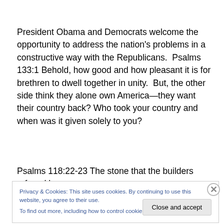President Obama and Democrats welcome the opportunity to address the nation's problems in a constructive way with the Republicans.  Psalms 133:1 Behold, how good and how pleasant it is for brethren to dwell together in unity.  But, the other side think they alone own America—they want their country back? Who took your country and when was it given solely to you?
Psalms 118:22-23 The stone that the builders refused has
Privacy & Cookies: This site uses cookies. By continuing to use this website, you agree to their use.
To find out more, including how to control cookies, see here: Cookie Policy
Close and accept